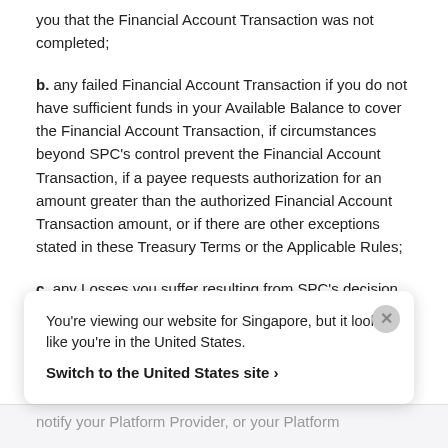you that the Financial Account Transaction was not completed;
b. any failed Financial Account Transaction if you do not have sufficient funds in your Available Balance to cover the Financial Account Transaction, if circumstances beyond SPC's control prevent the Financial Account Transaction, if a payee requests authorization for an amount greater than the authorized Financial Account Transaction amount, or if there are other exceptions stated in these Treasury Terms or the Applicable Rules;
c. any Losses you suffer resulting from SPC's decision
You're viewing our website for Singapore, but it looks like you're in the United States.
Switch to the United States site ›
notify your Platform Provider, or your Platform